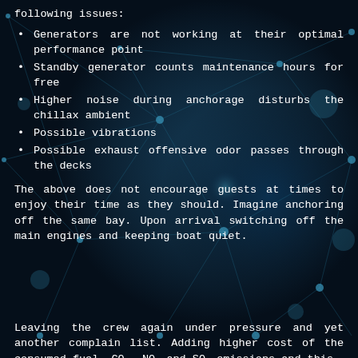following issues:
Generators are not working at their optimal performance point
Standby generator counts maintenance hours for free
Higher noise during anchorage disturbs the chillax ambient
Possible vibrations
Possible exhaust offensive odor passes through the decks
The above does not encourage guests at times to enjoy their time as they should. Imagine anchoring off the same bay. Upon arrival switching off the main engines and keeping boat quiet.
Leaving the crew again under pressure and yet another complain list. Adding higher cost of the consumed fuel, CO₂, NOₓ and SOₓ emissions and this